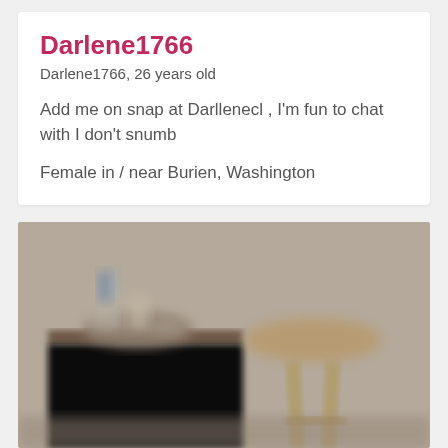Darlene1766
Darlene1766, 26 years old
Add me on snap at Darllenecl , I'm fun to chat with I don't snumb
Female in / near Burien, Washington
[Figure (photo): Blurry indoor photo showing a dark dresser/cabinet on the left with some items on top, and a wooden bar stool on the right, against a light beige wall.]